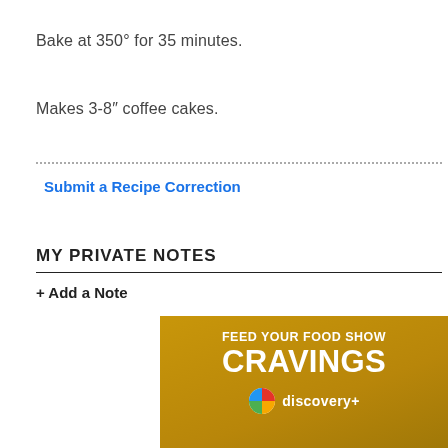Bake at 350° for 35 minutes.
Makes 3-8" coffee cakes.
Submit a Recipe Correction
MY PRIVATE NOTES
+ Add a Note
[Figure (illustration): Discovery+ advertisement banner with gold background reading 'FEED YOUR FOOD SHOW CRAVINGS' with discovery+ logo at bottom]